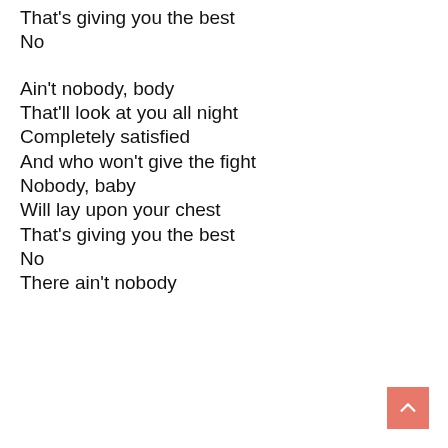That's giving you the best
No
Ain't nobody, body
That'll look at you all night
Completely satisfied
And who won't give the fight
Nobody, baby
Will lay upon your chest
That's giving you the best
No
There ain't nobody